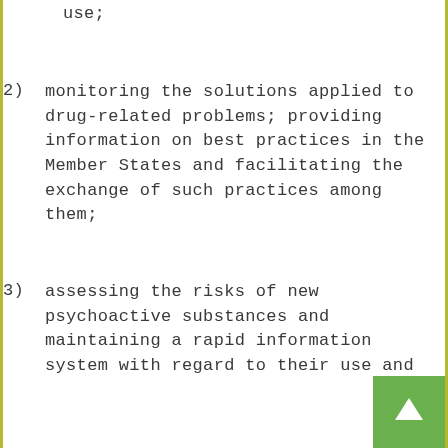use;
2) monitoring the solutions applied to drug-related problems; providing information on best practices in the Member States and facilitating the exchange of such practices among them;
3) assessing the risks of new psychoactive substances and maintaining a rapid information system with regard to their use and